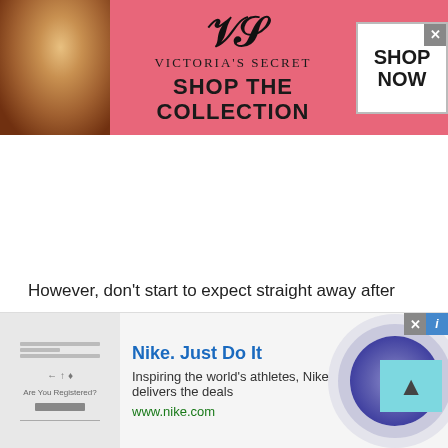[Figure (other): Victoria's Secret advertisement banner with pink background, model on left, VS logo and 'SHOP THE COLLECTION' text in center, 'SHOP NOW' button on right]
However, don't start to expect straight away after helping them; instead, try to be as helpful as you can; if the friendship starts, it's a bonus.
Start a conversation while you are stuck somewhere.
If you're stuck someplace in line, at the specialist's office, or something like that, utilize this opportunity to talk with others. Over and over again, we simply get disappointed when there is a deferral, and we detest the open door that...
[Figure (other): Nike advertisement banner at bottom with 'Nike. Just Do It' headline, description text, www.nike.com URL, circular arrow button on right, and close/info buttons at top]